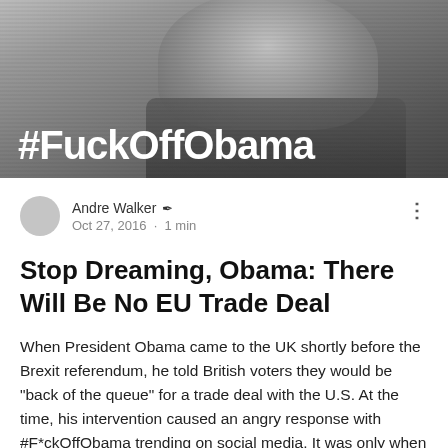[Figure (photo): Black and white photo of a man making a gesture, with large white text overlay reading #FuckOffObama]
Andre Walker ✒ Oct 27, 2016 · 1 min
Stop Dreaming, Obama: There Will Be No EU Trade Deal
When President Obama came to the UK shortly before the Brexit referendum, he told British voters they would be "back of the queue" for a trade deal with the U.S. At the time, his intervention caused an angry response with #F*ckOffObama trending on social media. It was only when the result of the referendum was known that it became clear the queue consisted of just two